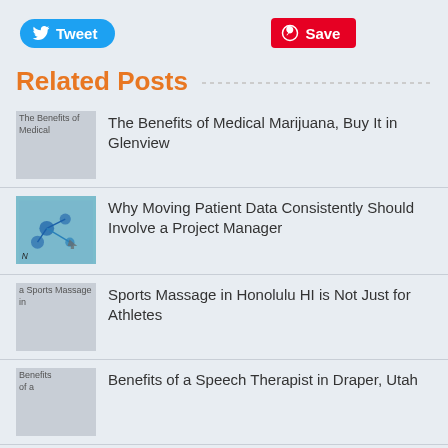[Figure (other): Tweet button (Twitter/X blue rounded button) and Save button (Pinterest red button)]
Related Posts
The Benefits of Medical Marijuana, Buy It in Glenview
Why Moving Patient Data Consistently Should Involve a Project Manager
Sports Massage in Honolulu HI is Not Just for Athletes
Benefits of a Speech Therapist in Draper, Utah